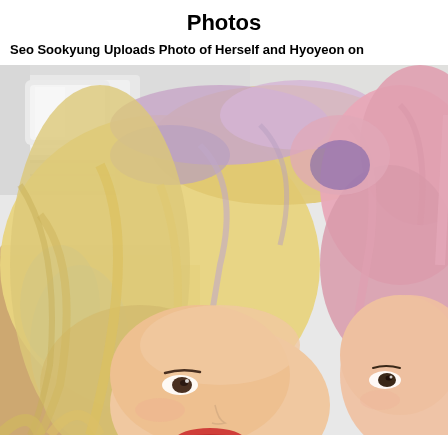Photos
Seo Sookyung Uploads Photo of Herself and Hyoyeon on
[Figure (photo): Close-up selfie of two young women with colorful dyed hair taken on an airplane. The woman on the left has blonde and lavender/blue highlighted hair and is smiling. The woman on the right has pink/mauve dyed hair. They are sitting in airplane seats with beige/tan upholstery visible. The airplane cabin interior with overhead compartments is visible in the background.]